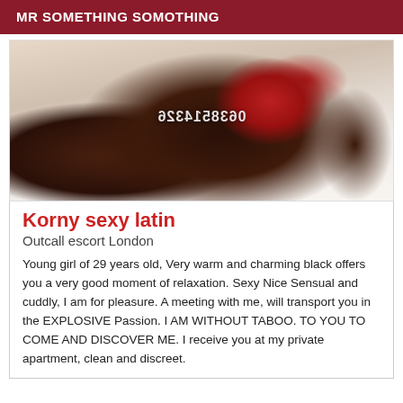MR SOMETHING SOMOTHING
[Figure (photo): Photo of a woman in a red bikini lying on white sheets, with a mirrored/reversed phone number overlay reading 0638514326]
Korny sexy latin
Outcall escort London
Young girl of 29 years old, Very warm and charming black offers you a very good moment of relaxation. Sexy Nice Sensual and cuddly, I am for pleasure. A meeting with me, will transport you in the EXPLOSIVE Passion. I AM WITHOUT TABOO. TO YOU TO COME AND DISCOVER ME. I receive you at my private apartment, clean and discreet.